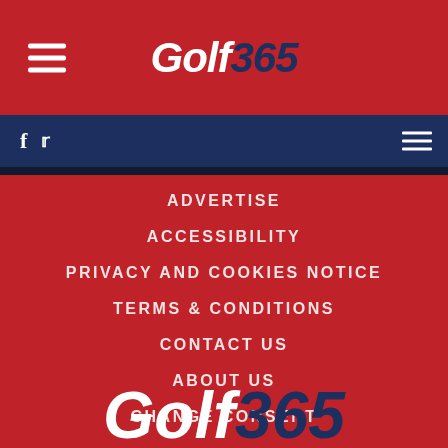Golf365
ADVERTISE
ACCESSIBILITY
PRIVACY AND COOKIES NOTICE
TERMS & CONDITIONS
CONTACT US
ABOUT US
CHANGE CONSENT
[Figure (logo): Golf365 logo watermark at bottom of page]